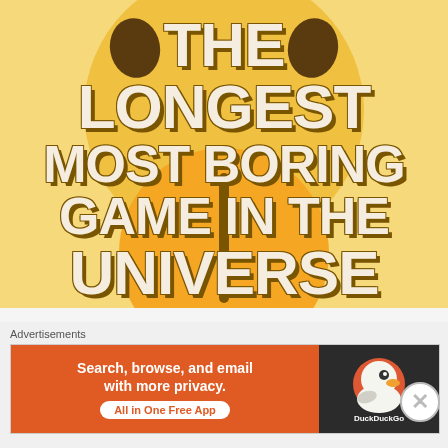[Figure (illustration): Colorful cartoon-style image with yellow background and a large bored/silly face emoji with orange tongue sticking out. Bold text overlay reads: THE LONGEST MOST BORING GAME IN THE UNIVERSE]
Hey there! Is it just me or is it getting more difficult to keep the attention of children with ADHD and/or
Advertisements
[Figure (screenshot): DuckDuckGo advertisement banner: 'Search, browse, and email with more privacy. All in One Free App' on orange background with DuckDuckGo duck logo on dark background.]